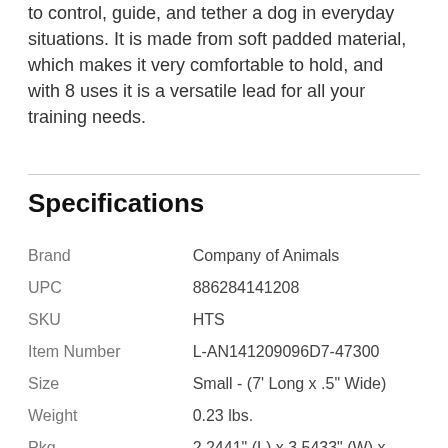to control, guide, and tether a dog in everyday situations. It is made from soft padded material, which makes it very comfortable to hold, and with 8 uses it is a versatile lead for all your training needs.
Specifications
| Field | Value |
| --- | --- |
| Brand | Company of Animals |
| UPC | 886284141208 |
| SKU | HTS |
| Item Number | L-AN141209096D7-47300 |
| Size | Small - (7' Long x .5" Wide) |
| Weight | 0.23 lbs. |
| Pkg Dimensions | 2.2441" (L) x 3.5433" (W) x 9.843" (H) |